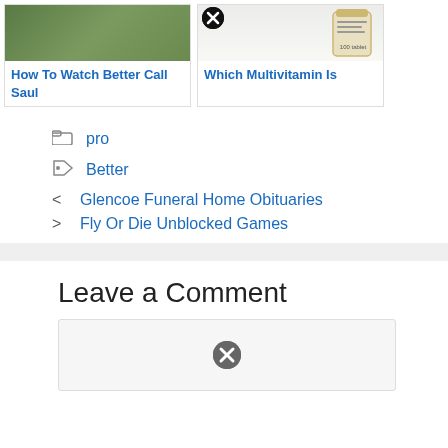[Figure (screenshot): Two content cards side by side: left card shows 'How To Watch Better Call Saul' with an outdoor photo, right card shows 'Which Multivitamin Is' with a pill bottle image and a close/ad button overlay]
pro (category link)
Better (tag link)
< Glencoe Funeral Home Obituaries (previous post link)
> Fly Or Die Unblocked Games (next post link)
Leave a Comment
[Figure (screenshot): Comment text area input box (light grey background) with a circular close/ad button overlay in the center]